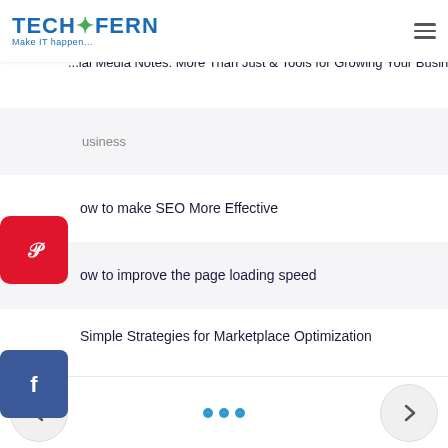[Figure (logo): TechFern logo with fern leaf graphic and tagline 'Make IT happen...']
Recent Posts
Social Media Notes: More Than Just & Tools for Growing Your Business
How to make SEO More Effective
How to improve the page loading speed
Simple Strategies for Marketplace Optimization
The Top 5 Reasons for Investing in SEO